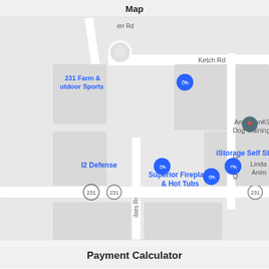Map
[Figure (map): Google Maps screenshot showing local businesses including 231 Farm & Outdoor Sports, AmericanK9 Dog Training, iStorage Self Storage, I2 Defense, Superior Fireplace & Hot Tubs, Linda Anim. Roads visible: Ketch Rd, Jibsail Dr, Wilkes Rd, route 231.]
Payment Calculator
Purchase Amount
4295.00
Down Payment